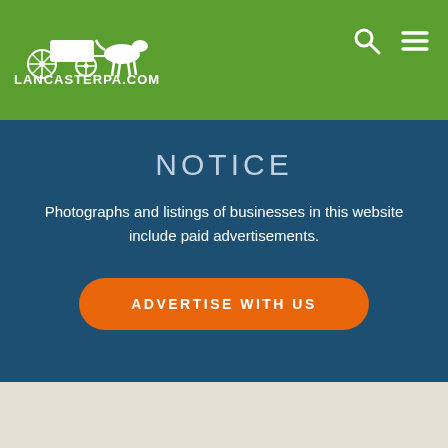LancasterPA.com
NOTICE
Photographs and listings of businesses in this website include paid advertisements.
ADVERTISE WITH US